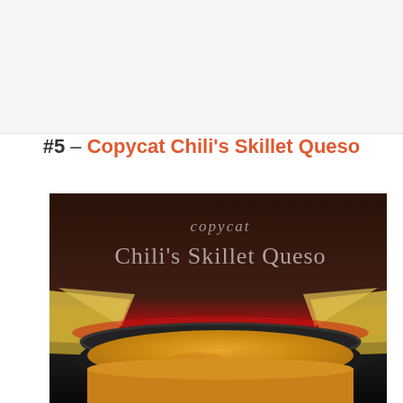#5 – Copycat Chili's Skillet Queso
[Figure (photo): Food photograph of Copycat Chili's Skillet Queso — a dark brown background with cursive 'copycat' and serif 'Chili's Skillet Queso' text overlay in the top portion. In the lower portion, a black skillet/bowl filled with orange-yellow queso dip is shown surrounded by tortilla chips in a red basket.]